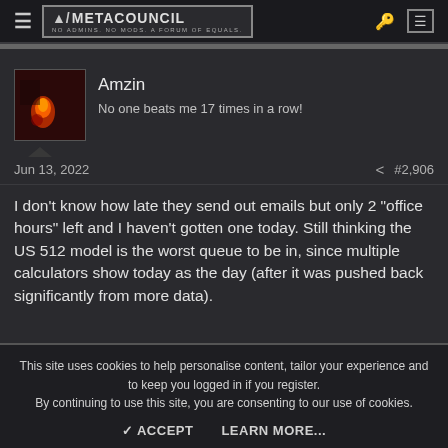METACOUNCIL — NO ADMINS. NO MODS. A FORUM OF EQUALS.
Amzin
No one beats me 17 times in a row!
Jun 13, 2022  #2,906
I don't know how late they send out emails but only 2 "office hours" left and I haven't gotten one today. Still thinking the US 512 model is the worst queue to be in, since multiple calculators show today as the day (after it was pushed back significantly from more data).
This site uses cookies to help personalise content, tailor your experience and to keep you logged in if you register.
By continuing to use this site, you are consenting to our use of cookies.
ACCEPT   LEARN MORE...